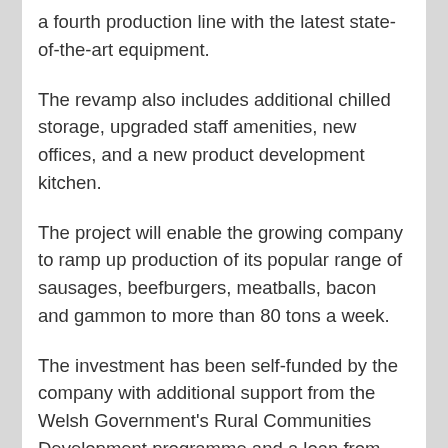a fourth production line with the latest state-of-the-art equipment.
The revamp also includes additional chilled storage, upgraded staff amenities, new offices, and a new product development kitchen.
The project will enable the growing company to ramp up production of its popular range of sausages, beefburgers, meatballs, bacon and gammon to more than 80 tons a week.
The investment has been self-funded by the company with additional support from the Welsh Government's Rural Communities Development programme and a loan from HSBC.
Edwards of Conwy supplies all the major